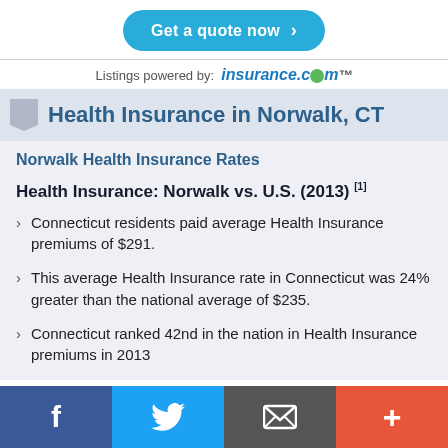[Figure (other): Get a quote now button with right arrow chevron, teal/blue rounded pill shape]
Listings powered by: insurance.com
Health Insurance in Norwalk, CT
Norwalk Health Insurance Rates
Health Insurance: Norwalk vs. U.S. (2013) [1]
Connecticut residents paid average Health Insurance premiums of $291.
This average Health Insurance rate in Connecticut was 24% greater than the national average of $235.
Connecticut ranked 42nd in the nation in Health Insurance premiums in 2013
[Figure (other): Social media footer bar with Facebook, Twitter, email/envelope, and plus buttons]